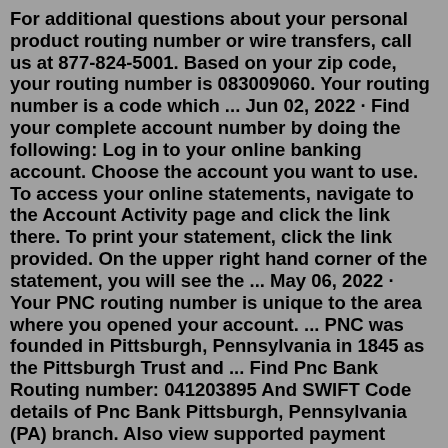For additional questions about your personal product routing number or wire transfers, call us at 877-824-5001. Based on your zip code, your routing number is 083009060. Your routing number is a code which ... Jun 02, 2022 · Find your complete account number by doing the following: Log in to your online banking account. Choose the account you want to use. To access your online statements, navigate to the Account Activity page and click the link there. To print your statement, click the link provided. On the upper right hand corner of the statement, you will see the ... May 06, 2022 · Your PNC routing number is unique to the area where you opened your account. ... PNC was founded in Pittsburgh, Pennsylvania in 1845 as the Pittsburgh Trust and ... Find Pnc Bank Routing number: 041203895 And SWIFT Code details of Pnc Bank Pittsburgh, Pennsylvania (PA) branch. Also view supported payment methods, Address and Contact number etc.Pennsylvania - Northeast 031300012. Pennsylvania - Northwest 043300738.